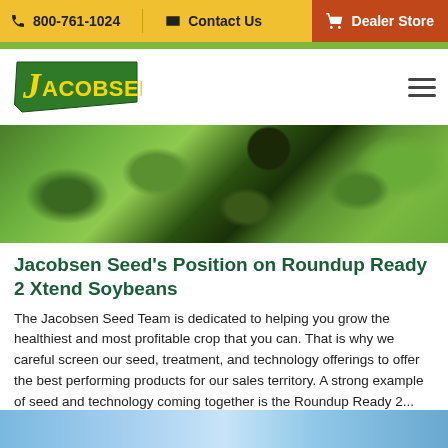800-761-1024  Contact Us  Dealer Store
[Figure (logo): Jacobsen seed company logo - green banner shape with yellow JACOBSEN text]
[Figure (photo): Close-up photo of soybean plants with green leaves against dark soil background]
Jacobsen Seed's Position on Roundup Ready 2 Xtend Soybeans
The Jacobsen Seed Team is dedicated to helping you grow the healthiest and most profitable crop that you can. That is why we careful screen our seed, treatment, and technology offerings to offer the best performing products for our sales territory. A strong example of seed and technology coming together is the Roundup Ready 2...
[Figure (photo): Bottom strip showing sky/field background image]